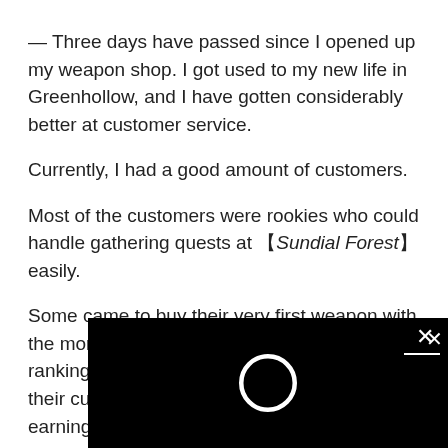— Three days have passed since I opened up my weapon shop. I got used to my new life in Greenhollow, and I have gotten considerably better at customer service.
Currently, I had a good amount of customers.
Most of the customers were rookies who could handle gathering quests at 【Sundial Forest】easily.
Some came to buy their very first weapon with the money they saved up from doing low-ranking quests, while others came to replace their current weapon for a better one. I was earning a good amount of money from them as expected.
Furthermore, news of my high level【R... spread, so I was getting a steady inco... requests for weapons and armor.
[Figure (other): Black overlay dialog/loading box with a white circle spinner and close (X) button in top right corner]